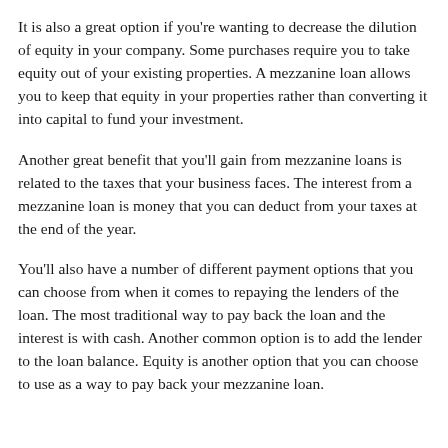It is also a great option if you're wanting to decrease the dilution of equity in your company. Some purchases require you to take equity out of your existing properties. A mezzanine loan allows you to keep that equity in your properties rather than converting it into capital to fund your investment.
Another great benefit that you'll gain from mezzanine loans is related to the taxes that your business faces. The interest from a mezzanine loan is money that you can deduct from your taxes at the end of the year.
You'll also have a number of different payment options that you can choose from when it comes to repaying the lenders of the loan. The most traditional way to pay back the loan and the interest is with cash. Another common option is to add the lender to the loan balance. Equity is another option that you can choose to use as a way to pay back your mezzanine loan.